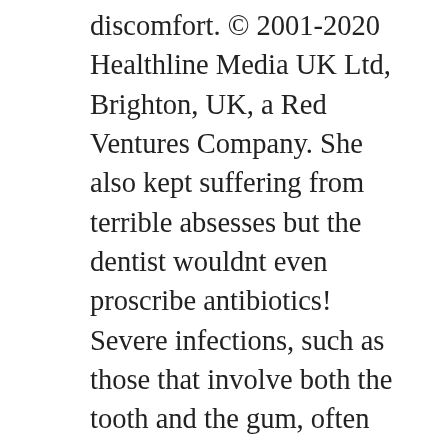discomfort. © 2001-2020 Healthline Media UK Ltd, Brighton, UK, a Red Ventures Company. She also kept suffering from terrible absesses but the dentist wouldnt even proscribe antibiotics! Severe infections, such as those that involve both the tooth and the gum, often require extensive treatment. A periapical (per-e-AP-ih-kul) abscess occurs at the tip of the root, whereas a periodontal (per-e-o-DON-tul) abscess occurs in the gums at the side of a tooth root. If your child is old enough to start brushing alone, inspect their teeth afterward to make sure they're not missing any areas. For instance, taking over-the-counter pain medications such as ibuprofen (Advil) can reduce pain and swelling. Abscess can also spread to other parts of your child's mouth. Pericoronitis , for example, is an infection that occurs around a … They can develop on top of the skin, under the skin, in a tooth, or even deep inside the